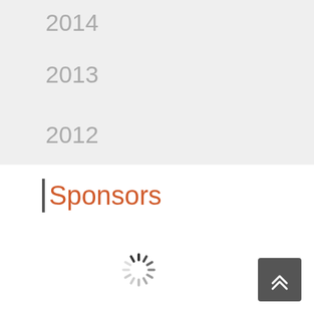2014
2013
2012
Sponsors
[Figure (other): Loading spinner animation icon]
[Figure (other): Scroll-to-top button with upward chevron arrows]